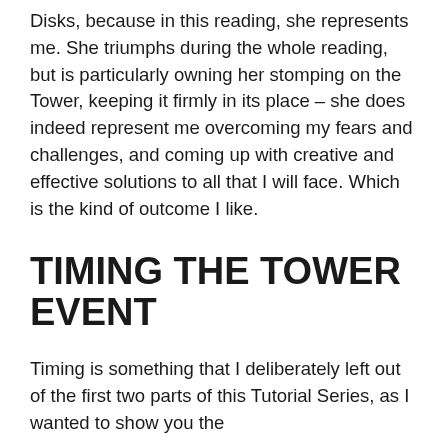Disks, because in this reading, she represents me. She triumphs during the whole reading, but is particularly owning her stomping on the Tower, keeping it firmly in its place – she does indeed represent me overcoming my fears and challenges, and coming up with creative and effective solutions to all that I will face. Which is the kind of outcome I like.
TIMING THE TOWER EVENT
Timing is something that I deliberately left out of the first two parts of this Tutorial Series, as I wanted to show you the